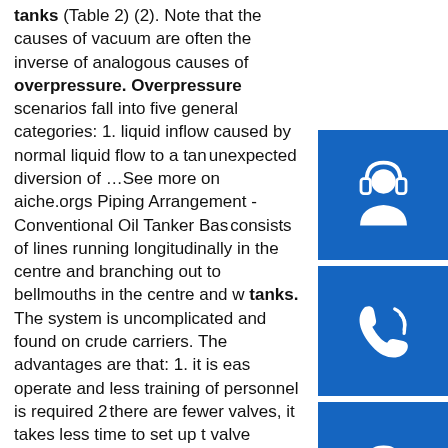tanks (Table 2) (2). Note that the causes of vacuum are often the inverse of analogous causes of overpressure. Overpressure scenarios fall into five general categories: 1. liquid inflow caused by normal liquid flow to a tank, unexpected diversion of …See more on aiche.orgs Piping Arrangement - Conventional Oil Tanker Basic consists of lines running longitudinally in the centre and branching out to bellmouths in the centre and wing tanks. The system is uncomplicated and found on crude carriers. The advantages are that: 1. it is easy operate and less training of personnel is required 2. there are fewer valves, it takes less time to set up the valve system before commencing a cargo operation 3. contamination is unlikely, as it is easy …See more on cultofsea.comsp.info Energy Consumption of Tanks and Vats | Spirax Sarcolt is 3 m long by 3 m wide by 2 m high. Tank total surface area = 24 m² (excluding base). Heat transfer coefficient from tank/air, U1 = 11 W/m² °C. The tank is 2/3 full of a weak acid solution (cp = 3.9 kJ/kg °C)
[Figure (illustration): Three blue icon boxes stacked vertically on the right side: headset/customer service icon, phone/call icon, Skype icon]